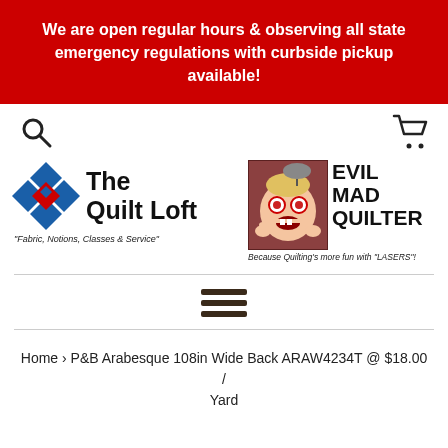We are open regular hours & observing all state emergency regulations with curbside pickup available!
[Figure (logo): The Quilt Loft logo with blue and red diamond quilt pattern icon and text 'Fabric, Notions, Classes & Service']
[Figure (logo): Evil Mad Quilter logo with cartoon character image and tagline 'Because Quilting's more fun with LASERS']
Home › P&B Arabesque 108in Wide Back ARAW4234T @ $18.00 / Yard